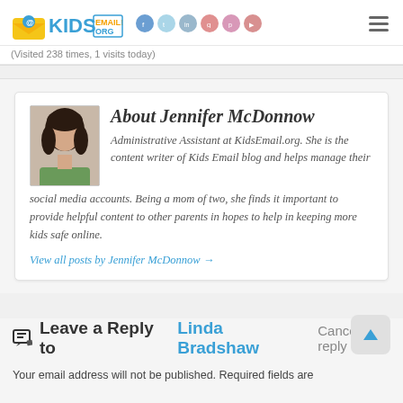KidsEmail.org logo with social icons and hamburger menu
(Visited 238 times, 1 visits today)
About Jennifer McDonnow
Administrative Assistant at KidsEmail.org. She is the content writer of Kids Email blog and helps manage their social media accounts. Being a mom of two, she finds it important to provide helpful content to other parents in hopes to help in keeping more kids safe online.
View all posts by Jennifer McDonnow →
Leave a Reply to Linda Bradshaw Cancel reply
Your email address will not be published. Required fields are